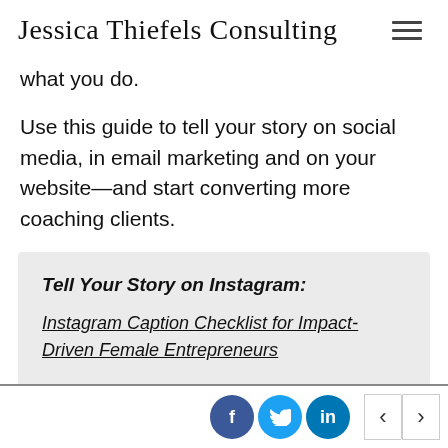Jessica Thiefels Consulting
what you do.
Use this guide to tell your story on social media, in email marketing and on your website—and start converting more coaching clients.
Tell Your Story on Instagram:
Instagram Caption Checklist for Impact-Driven Female Entrepreneurs
Social share icons: Facebook, Twitter, LinkedIn; navigation arrows